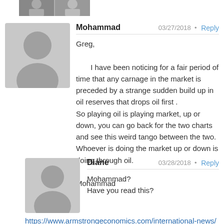[Figure (photo): Partial photo of a person at the top of the page]
Mohammad   03/27/2018 • Reply
Greg,
I have been noticing for a fair period of time that any carnage in the market is preceded by a strange sudden build up in oil reserves that drops oil first .
So playing oil is playing market, up or down, you can go back for the two charts and see this weird tango between the two.
Whoever is doing the market up or down is doing through oil.

Mohammad
Diane   03/28/2018 • Reply
Mohammad?
Have you read this?
https://www.armstrongeconomics.com/international-news/middle_east/why-syria-has-always-been-strategic/